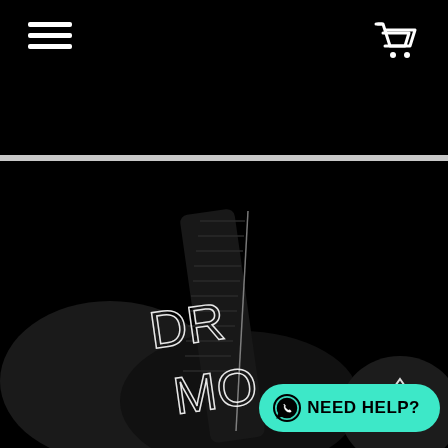[Figure (screenshot): Black navigation bar with white hamburger menu icon on the left and white shopping cart icon on the right]
[Figure (photo): Close-up dark product photo showing black objects with partial white text 'DR' and 'MO' visible on a dark carbon-fiber style surface]
NEED HELP?